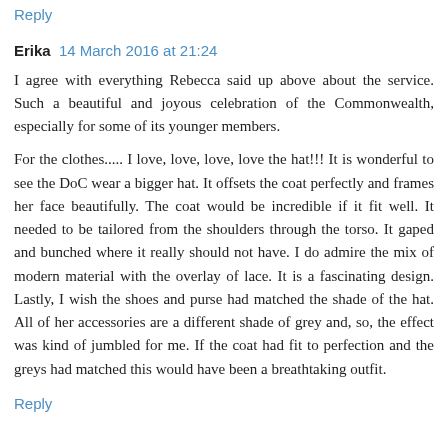Reply
Erika  14 March 2016 at 21:24
I agree with everything Rebecca said up above about the service. Such a beautiful and joyous celebration of the Commonwealth, especially for some of its younger members.
For the clothes..... I love, love, love, love the hat!!! It is wonderful to see the DoC wear a bigger hat. It offsets the coat perfectly and frames her face beautifully. The coat would be incredible if it fit well. It needed to be tailored from the shoulders through the torso. It gaped and bunched where it really should not have. I do admire the mix of modern material with the overlay of lace. It is a fascinating design. Lastly, I wish the shoes and purse had matched the shade of the hat. All of her accessories are a different shade of grey and, so, the effect was kind of jumbled for me. If the coat had fit to perfection and the greys had matched this would have been a breathtaking outfit.
Reply